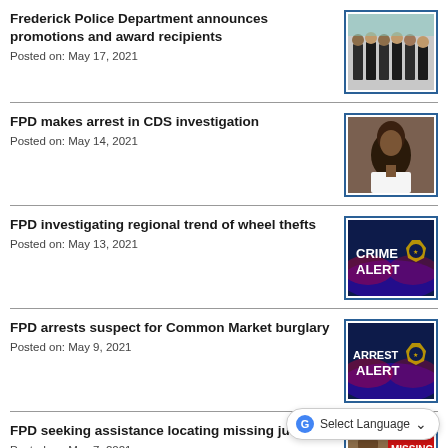Frederick Police Department announces promotions and award recipients
Posted on: May 17, 2021
[Figure (photo): Group photo of police officers in uniform standing together]
FPD makes arrest in CDS investigation
Posted on: May 14, 2021
[Figure (photo): Mugshot of an individual with long hair wearing a white shirt]
FPD investigating regional trend of wheel thefts
Posted on: May 13, 2021
[Figure (photo): Crime Alert graphic with blue and red lighting effects and a police badge]
FPD arrests suspect for Common Market burglary
Posted on: May 9, 2021
[Figure (photo): Arrest Alert graphic with blue and red lighting effects and a police badge]
FPD seeking assistance locating missing juvenile
Posted on: May 7, 2021
[Figure (photo): Missing Person alert graphic with a person's photo and red background with MISSING text]